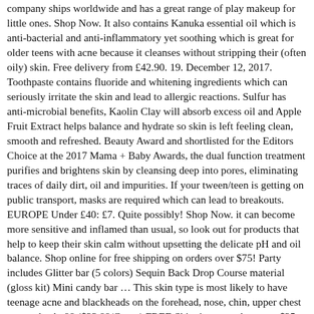company ships worldwide and has a great range of play makeup for little ones. Shop Now. It also contains Kanuka essential oil which is anti-bacterial and anti-inflammatory yet soothing which is great for older teens with acne because it cleanses without stripping their (often oily) skin. Free delivery from £42.90. 19. December 12, 2017. Toothpaste contains fluoride and whitening ingredients which can seriously irritate the skin and lead to allergic reactions. Sulfur has anti-microbial benefits, Kaolin Clay will absorb excess oil and Apple Fruit Extract helps balance and hydrate so skin is left feeling clean, smooth and refreshed. Beauty Award and shortlisted for the Editors Choice at the 2017 Mama + Baby Awards, the dual function treatment purifies and brightens skin by cleansing deep into pores, eliminating traces of daily dirt, oil and impurities. If your tween/teen is getting on public transport, masks are required which can lead to breakouts. EUROPE Under £40: £7. Quite possibly! Shop Now. it can become more sensitive and inflamed than usual, so look out for products that help to keep their skin calm without upsetting the delicate pH and oil balance. Shop online for free shipping on orders over $75! Party includes Glitter bar (5 colors) Sequin Back Drop Course material (gloss kit) Mini candy bar … This skin type is most likely to have teenage acne and blackheads on the forehead, nose, chin, upper chest area or back. 99 ($23.99/Count) FREE Shipping on orders over $25 shipped by Amazon. Neutrogena Visibly Clear Pink Grapefruit Oil-Free Moisturiser. By Mary Jo DiLonardo. This range is well documented as home to some of the best skin care products for teens. It's inevitable. Browse hair care products, organic makeup and more in the Whole Foods Market Beauty and Body Care aisles. Visit our store to … It's a fast-acting, effective spot treatment specially formulated with Salicylic Acid, Sulphur and Zinc Oxide to